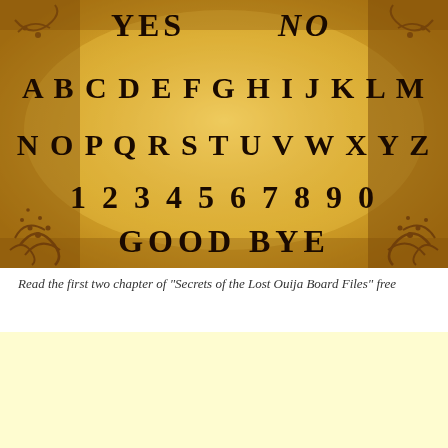[Figure (photo): A photograph of a Ouija board with aged parchment-colored background and decorative swirl borders. The board displays: YES and NO at the top, the alphabet A-M on first row and N-Z on second row, numbers 1234567890, and GOOD BYE at the bottom. Text is in a spooky decorative font.]
Read the first two chapter of "Secrets of the Lost Ouija Board Files" free